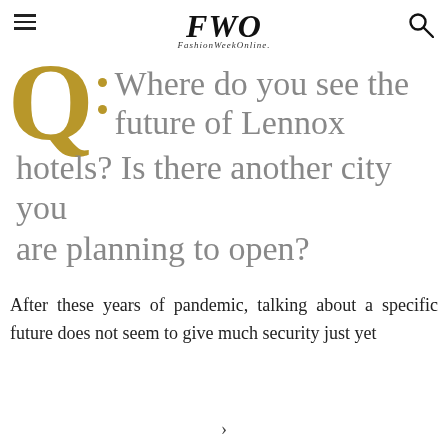FWO FashionWeekOnline.
Q: Where do you see the future of Lennox hotels? Is there another city you are planning to open?
After these years of pandemic, talking about a specific future does not seem to give much security just yet